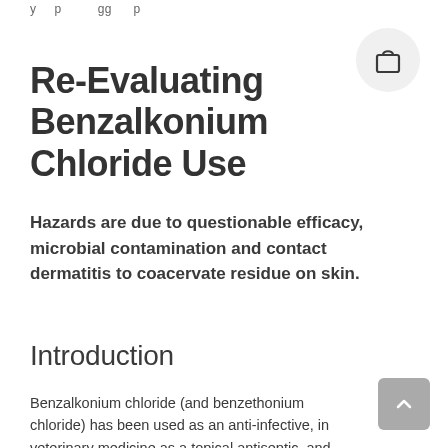y p gg p
Re-Evaluating Benzalkonium Chloride Use
Hazards are due to questionable efficacy, microbial contamination and contact dermatitis to coacervate residue on skin.
Introduction
Benzalkonium chloride (and benzethonium chloride) has been used as an anti-infective, in veterinary medicine as a topical antiseptic, and